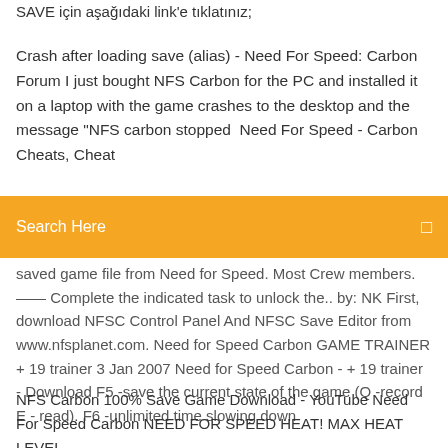SAVE için aşağıdaki link'e tıklatınız;
Crash after loading save (alias) - Need For Speed: Carbon Forum I just bought NFS Carbon for the PC and installed it on a laptop with the game crashes to the desktop and the message "NFS carbon stopped  Need For Speed - Carbon Cheats, Cheat
Search Here
saved game file from Need for Speed. Most Crew members. —— Complete the indicated task to unlock the.. by: NK First, download NFSC Control Panel And NFSC Save Editor from www.nfsplanet.com. Need for Speed Carbon GAME TRAINER + 19 trainer 3 Jan 2007 Need for Speed Carbon - + 19 trainer - Download F5 -save the current state of the game (Q -record E - read). F6 -unlimited time slowing down
NFS Carbon 100% Save Game Download - YouTube Need For Speed Carbon NEED FOR SPEED HEAT! MAX HEAT LEVEL